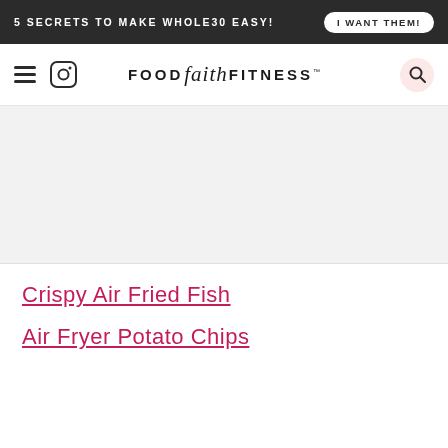5 SECRETS TO MAKE WHOLE30 EASY! | I WANT THEM!
[Figure (logo): Food Faith Fitness logo with hamburger menu, Instagram icon, and search button]
[Figure (photo): Light gray image placeholder area]
Crispy Air Fried Fish
Air Fryer Potato Chips